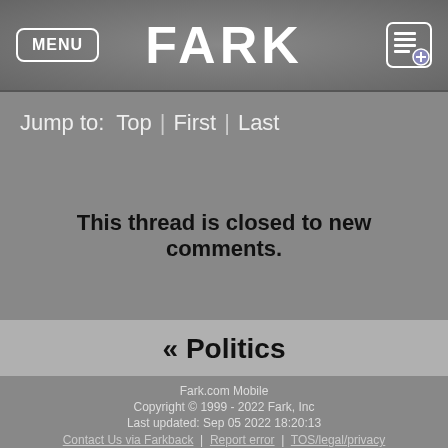FARK
Jump to:  Top  |  First  |  Last
This thread is closed to new comments.
« Politics
Fark.com Mobile
Copyright © 1999 - 2022 Fark, Inc
Last updated: Sep 05 2022 18:20:13
Contact Us via Farkback | Report error | TOS/legal/privacy
Do Not Sell My Personal Information
Full site